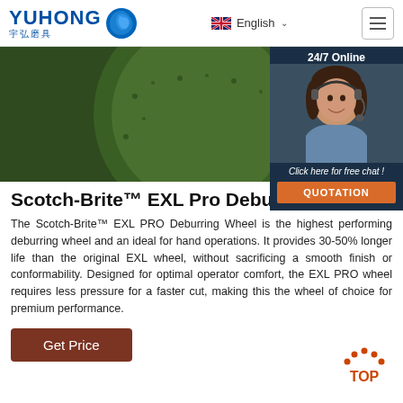YUHONG 宇弘磨具 | English
[Figure (photo): Close-up photo of a Scotch-Brite EXL Pro Deburring Wheel showing green abrasive surface with blue safety icons including eye protection, ear protection, face shield, and glove symbols. Text on wheel reads FOR TRAINER METALL.]
[Figure (photo): 24/7 Online chat widget showing a smiling female customer service representative wearing a headset, with dark navy background. Includes 'Click here for free chat!' text and orange QUOTATION button.]
Scotch-Brite™ EXL Pro Deburring
The Scotch-Brite™ EXL PRO Deburring Wheel is the highest performing deburring wheel and an ideal for hand operations. It provides 30-50% longer life than the original EXL wheel, without sacrificing a smooth finish or conformability. Designed for optimal operator comfort, the EXL PRO wheel requires less pressure for a faster cut, making this the wheel of choice for premium performance.
Get Price
[Figure (logo): Orange dotted arc with TOP text below in orange — scroll to top button]